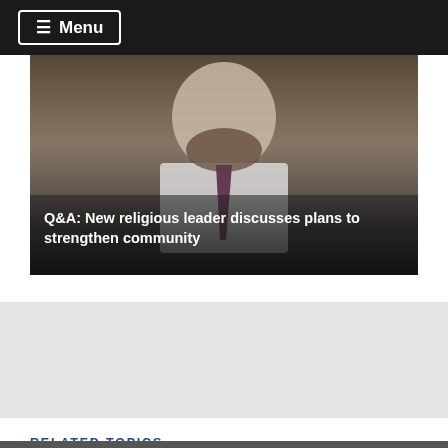≡ Menu
[Figure (photo): Photo of a bearded man in a white shirt and dark tie, with a semi-transparent dark overlay at the bottom containing headline text]
Q&A: New religious leader discusses plans to strengthen community
[Figure (other): Gray advertisement or content placeholder block]
RELATED TOPICS
ICPC
Ithaca College Protestant Community
Muller Chapel
Protestant chaplain
resignation
Rev. James Touchton